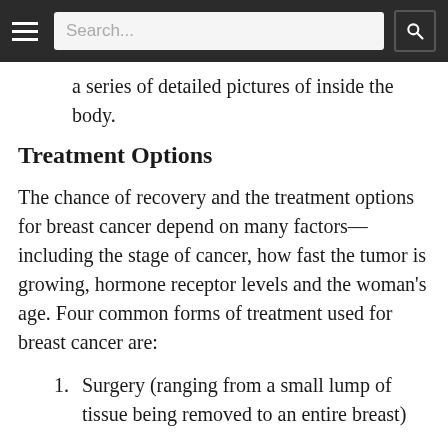Search...
a series of detailed pictures of inside the body.
Treatment Options
The chance of recovery and the treatment options for breast cancer depend on many factors—including the stage of cancer, how fast the tumor is growing, hormone receptor levels and the woman's age. Four common forms of treatment used for breast cancer are:
Surgery (ranging from a small lump of tissue being removed to an entire breast)